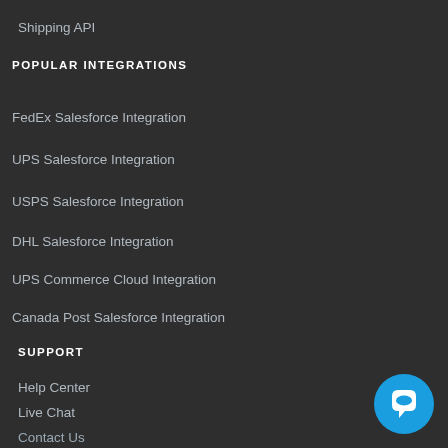Shipping API
POPULAR INTEGRATIONS
FedEx Salesforce Integration
UPS Salesforce Integration
USPS Salesforce Integration
DHL Salesforce Integration
UPS Commerce Cloud Integration
Canada Post Salesforce Integration
SUPPORT
Help Center
Live Chat
Contact Us
Datasheets
Privacy Policy
[Figure (illustration): Blue circular chat/support button icon in bottom right corner]